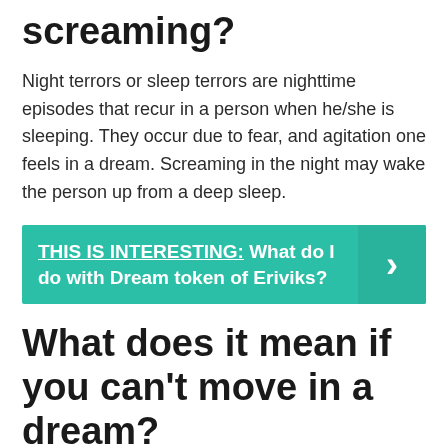screaming?
Night terrors or sleep terrors are nighttime episodes that recur in a person when he/she is sleeping. They occur due to fear, and agitation one feels in a dream. Screaming in the night may wake the person up from a deep sleep.
THIS IS INTERESTING: What do I do with Dream token of Eriviks?
What does it mean if you can't move in a dream?
Sleep paralysis can be a terrifying experience, dreams where you can't move